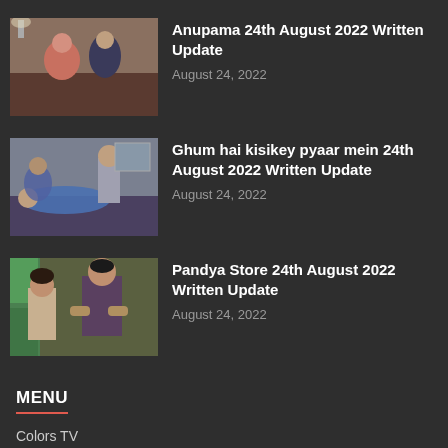Anupama 24th August 2022 Written Update
August 24, 2022
Ghum hai kisikey pyaar mein 24th August 2022 Written Update
August 24, 2022
Pandya Store 24th August 2022 Written Update
August 24, 2022
MENU
Colors TV